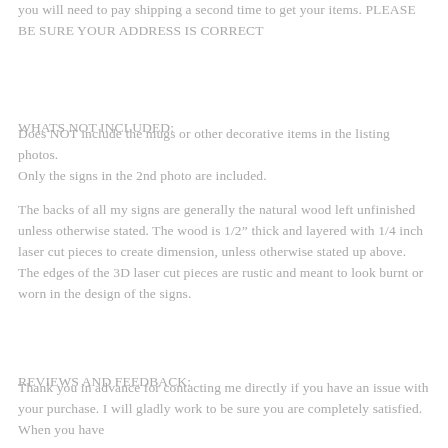you will need to pay shipping a second time to get your items. PLEASE BE SURE YOUR ADDRESS IS CORRECT
WHATS NOT INCLUDED:
Does NOT include the mugs or other decorative items in the listing photos.
Only the signs in the 2nd photo are included.
The backs of all my signs are generally the natural wood left unfinished unless otherwise stated. The wood is 1/2” thick and layered with 1/4 inch laser cut pieces to create dimension, unless otherwise stated up above. The edges of the 3D laser cut pieces are rustic and meant to look burnt or worn in the design of the signs.
REVIEWS AND FEEDBACK:
Thank you in advance for contacting me directly if you have an issue with your purchase. I will gladly work to be sure you are completely satisfied. When you have